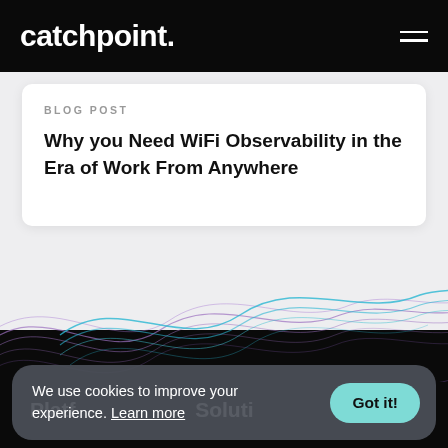catchpoint.
BLOG POST
Why you Need WiFi Observability in the Era of Work From Anywhere
[Figure (illustration): Decorative wave graphic with purple and teal flowing lines on light gray and dark background]
Platform
Solutions
We use cookies to improve your experience. Learn more
Got it!